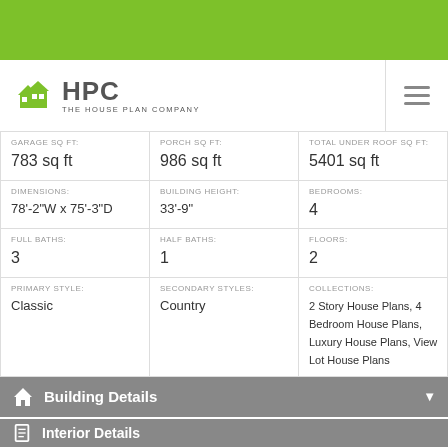[Figure (logo): HPC The House Plan Company logo with green house icon]
| GARAGE SQ FT: | PORCH SQ FT: | TOTAL UNDER ROOF SQ FT: |
| --- | --- | --- |
| 783 sq ft | 986 sq ft | 5401 sq ft |
| DIMENSIONS: | BUILDING HEIGHT: | BEDROOMS: |
| 78'-2"W x 75'-3"D | 33'-9" | 4 |
| FULL BATHS: | HALF BATHS: | FLOORS: |
| 3 | 1 | 2 |
| PRIMARY STYLE: | SECONDARY STYLES: | COLLECTIONS: |
| Classic | Country | 2 Story House Plans, 4 Bedroom House Plans, Luxury House Plans, View Lot House Plans |
Building Details
Interior Details